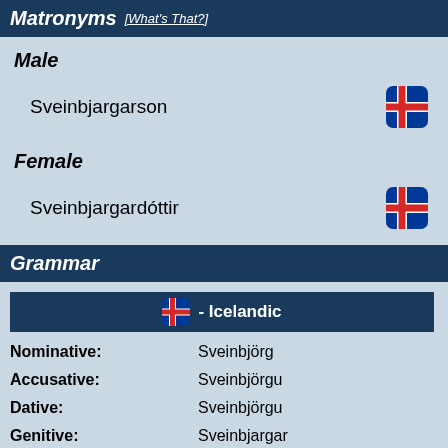Matronyms [What's That?]
Male
Sveinbjargarson
Female
Sveinbjargardóttir
Grammar
|  | - Icelandic |
| --- | --- |
| Nominative: | Sveinbjörg |
| Accusative: | Sveinbjörgu |
| Dative: | Sveinbjörgu |
| Genitive: | Sveinbjargar |